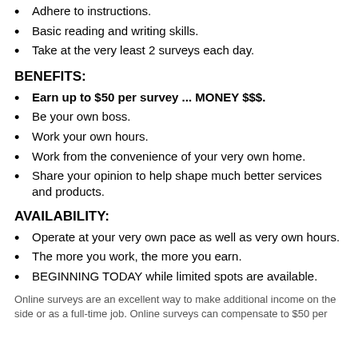Adhere to instructions.
Basic reading and writing skills.
Take at the very least 2 surveys each day.
BENEFITS:
Earn up to $50 per survey ... MONEY $$$.
Be your own boss.
Work your own hours.
Work from the convenience of your very own home.
Share your opinion to help shape much better services and products.
AVAILABILITY:
Operate at your very own pace as well as very own hours.
The more you work, the more you earn.
BEGINNING TODAY while limited spots are available.
Online surveys are an excellent way to make additional income on the side or as a full-time job. Online surveys can compensate to $50 per